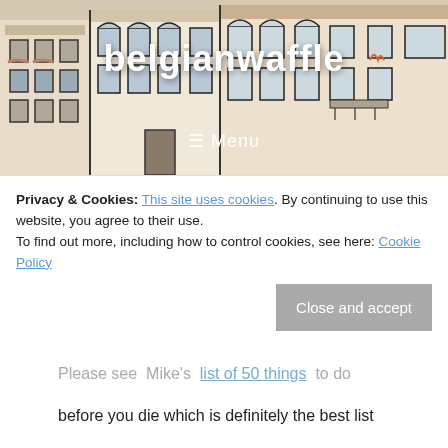belgianwaffle
Random Links
25 July, 2008
Privacy & Cookies: This site uses cookies. By continuing to use this website, you agree to their use.
To find out more, including how to control cookies, see here: Cookie Policy
Please see Mike's list of 50 things to do before you die which is definitely the best list